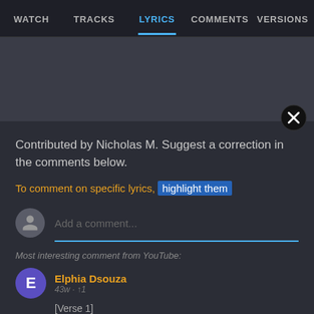WATCH | TRACKS | LYRICS | COMMENTS | VERSIONS
[Figure (screenshot): Gray content area placeholder]
Contributed by Nicholas M. Suggest a correction in the comments below.
To comment on specific lyrics, highlight them
Add a comment...
Most interesting comment from YouTube:
Elphia Dsouza
43w · ↑1
[Verse 1]